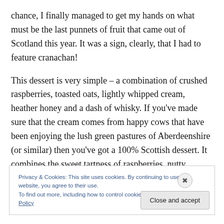chance, I finally managed to get my hands on what must be the last punnets of fruit that came out of Scotland this year. It was a sign, clearly, that I had to feature cranachan!
This dessert is very simple – a combination of crushed raspberries, toasted oats, lightly whipped cream, heather honey and a dash of whisky. If you've made sure that the cream comes from happy cows that have been enjoying the lush green pastures of Aberdeenshire (or similar) then you've got a 100% Scottish dessert. It combines the sweet tartness of raspberries, nutty toasted oats that have a little
Privacy & Cookies: This site uses cookies. By continuing to use this website, you agree to their use.
To find out more, including how to control cookies, see here: Cookie Policy